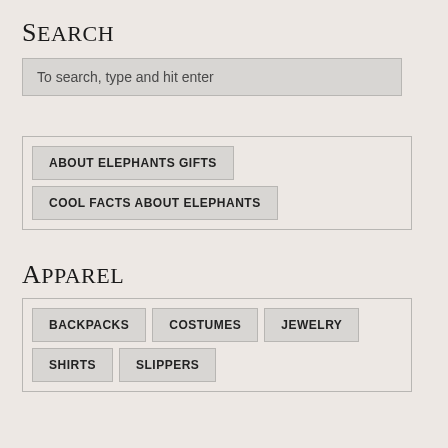Search
To search, type and hit enter
ABOUT ELEPHANTS GIFTS
COOL FACTS ABOUT ELEPHANTS
Apparel
BACKPACKS
COSTUMES
JEWELRY
SHIRTS
SLIPPERS